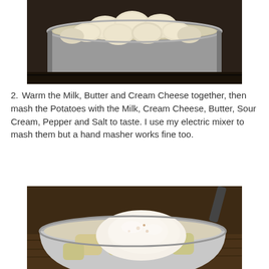[Figure (photo): A stainless steel pot filled with sliced raw potatoes in water, sitting on a stovetop burner.]
2. Warm the Milk, Butter and Cream Cheese together, then mash the Potatoes with the Milk, Cream Cheese, Butter, Sour Cream, Pepper and Salt to taste. I use my electric mixer to mash them but a hand masher works fine too.
[Figure (photo): A large mixing bowl containing cooked potato chunks topped with sour cream and cream cheese, ready to be mashed, sitting on a wooden surface.]